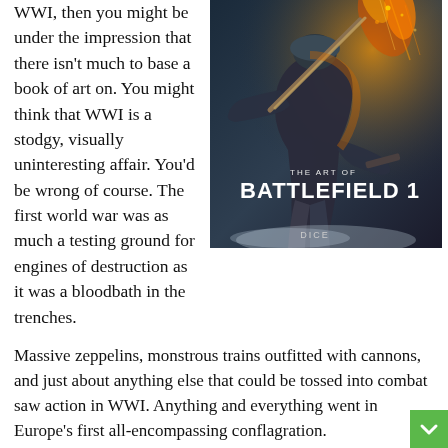WWI, then you might be under the impression that there isn't much to base a book of art on. You might think that WWI is a stodgy, visually uninteresting affair. You'd be wrong of course. The first world war was as much a testing ground for engines of destruction as it was a bloodbath in the trenches.
[Figure (illustration): Book cover: 'The Art of Battlefield 1' featuring a soldier wielding weapons against a fiery orange and grey background, with DICE logo in lower center.]
Massive zeppelins, monstrous trains outfitted with cannons, and just about anything else that could be tossed into combat saw action in WWI. Anything and everything went in Europe's first all-encompassing conflagration.
As the Great War rages, heretofore-inconceivable engines of destruction bathe the war-drenched